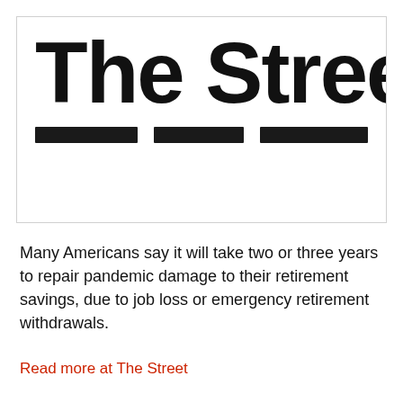[Figure (logo): The Street logo: large bold black text 'The Street' with three horizontal black bars beneath it, inside a bordered white box]
Many Americans say it will take two or three years to repair pandemic damage to their retirement savings, due to job loss or emergency retirement withdrawals.
Read more at The Street